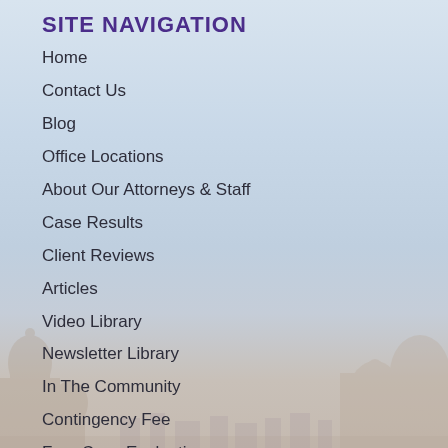SITE NAVIGATION
Home
Contact Us
Blog
Office Locations
About Our Attorneys & Staff
Case Results
Client Reviews
Articles
Video Library
Newsletter Library
In The Community
Contingency Fee
Free Case Evaluation
Privacy Policy
Disclaimer